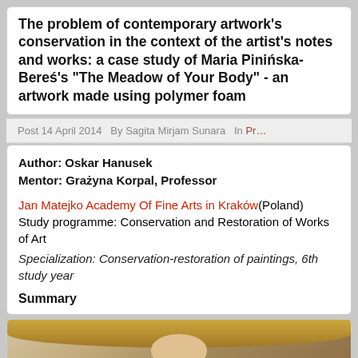The problem of contemporary artwork's conservation in the context of the artist's notes and works: a case study of Maria Pinińska-Bereś's "The Meadow of Your Body" - an artwork made using polymer foam
Post 14 April 2014  By Sagita Mirjam Sunara  In Pr…
Author: Oskar Hanusek
Mentor: Grażyna Korpal, Professor
Jan Matejko Academy Of Fine Arts in Kraków(Poland)
Study programme: Conservation and Restoration of Works of Art
Specialization: Conservation-restoration of paintings, 6th study year
Summary
[Figure (photo): Partial photo of a person, showing top of head with blonde hair, cropped at bottom of page]